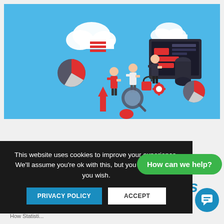[Figure (illustration): Isometric illustration on a light blue background showing business people with data analytics icons: cloud storage, pie charts, bar charts, dashboard screens, magnifying glass, padlock, gear icons, and a red arrow — representing data analytics / business intelligence concept.]
This website uses cookies to improve your experience. We'll assume you're ok with this, but you can opt-out if you wish.
PRIVACY POLICY
ACCEPT
How can we help?
ners